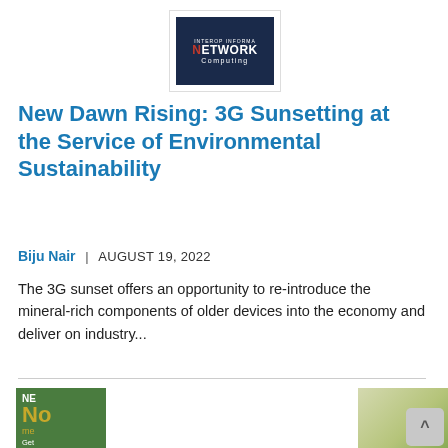[Figure (logo): Network Computing logo — white border box containing a dark navy rectangle with 'NETWORK Computing' text in white and red accent]
New Dawn Rising: 3G Sunsetting at the Service of Environmental Sustainability
Biju Nair  |  AUGUST 19, 2022
The 3G sunset offers an opportunity to re-introduce the mineral-rich components of older devices into the economy and deliver on industry...
[Figure (infographic): Bottom section showing a green card with 'NE' and partial text, cookie consent popup overlay, and a right side natural image hint, plus a scroll-to-top button]